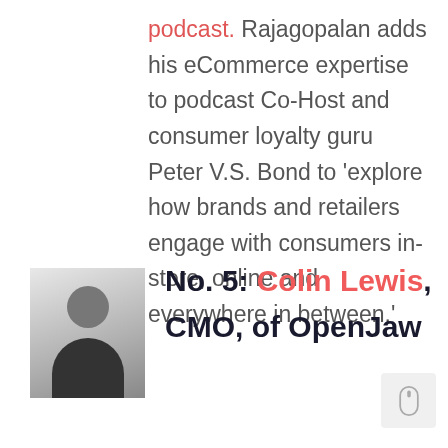podcast. Rajagopalan adds his eCommerce expertise to podcast Co-Host and consumer loyalty guru Peter V.S. Bond to 'explore how brands and retailers engage with consumers in-store, online and everywhere in between.'
[Figure (photo): Headshot photo of Colin Lewis, a man in dark clothing against a light background]
No. 5: Colin Lewis, CMO, of OpenJaw